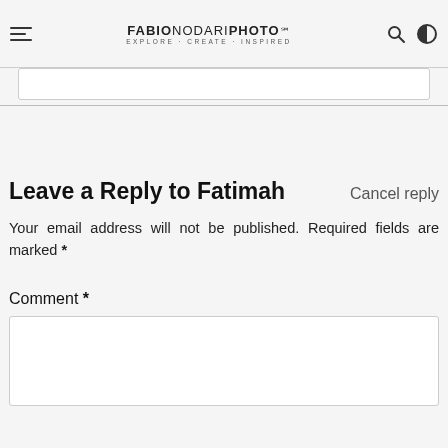FABIONODARIPHOTO · EXPLORE · CREATE · INSPIRED
Leave a Reply to Fatimah Cancel reply
Your email address will not be published. Required fields are marked *
Comment *